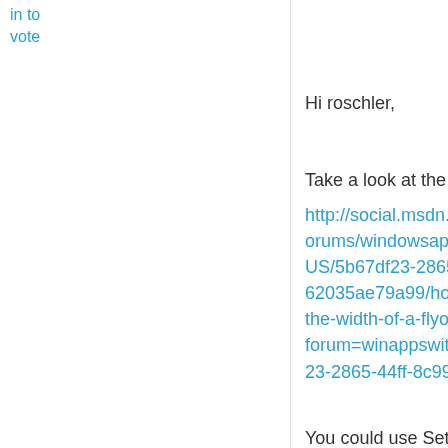in to vote
Hi roschler,
Take a look at the post
http://social.msdn.microsoft.com/Forums/windowsapps/en-US/5b67df23-2865-44ff-8c99-62035ae79a99/how-do-i-change-the-width-of-a-flyout?forum=winappswithcsharp#5b67df23-2865-44ff-8c99-62035ae79a99
You could use Setter to set a Margin for your Flyout, for instance:
[Figure (screenshot): Code snippet showing XML with <Flyout Opened=..., <Flyout.FlyoutPr..., <Style TargetT..., <Setter Pro... (bold), <Setter Pro..., <Setter Pro...]